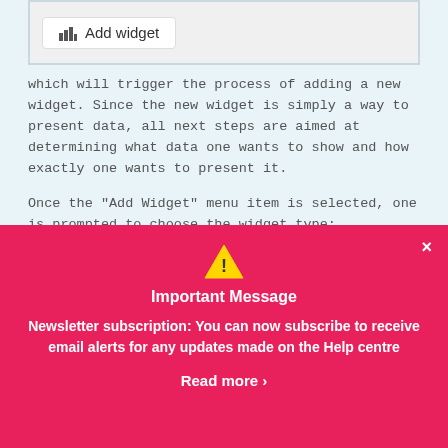[Figure (screenshot): Screenshot showing an 'Add widget' button with a bar chart icon on a light grey background]
which will trigger the process of adding a new widget. Since the new widget is simply a way to present data, all next steps are aimed at determining what data one wants to show and how exactly one wants to present it.
Once the "Add Widget" menu item is selected, one is prompted to choose the widget type:
[Figure (screenshot): Bottom edge of a screenshot box visible at the bottom of content area]
[Figure (screenshot): Modal overlay with pink/red background showing an Important Message about newsletter subscription. Contains a warning triangle icon, title 'Important Message', body text 'Newsletter subscription: You can now subscribe to receive email alerts for any updates made on the Help centre', and a 'Read more ›' link. Close button (x) in top right corner.]